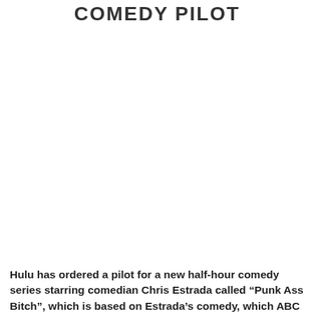COMEDY PILOT
Hulu has ordered a pilot for a new half-hour comedy series starring comedian Chris Estrada called “Punk Ass Bitch”, which is based on Estrada’s comedy, which ABC